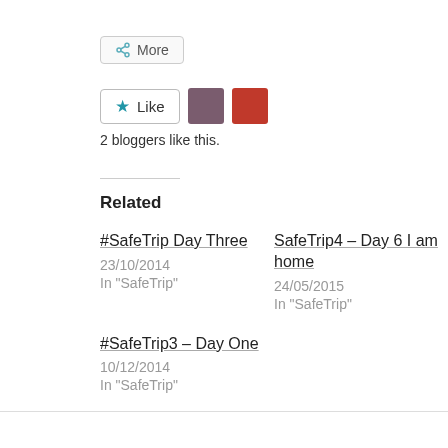[Figure (screenshot): More button with share icon]
[Figure (screenshot): Like button with star icon and two blogger avatars]
2 bloggers like this.
Related
#SafeTrip Day Three
23/10/2014
In "SafeTrip"
SafeTrip4 – Day 6 I am home
24/05/2015
In "SafeTrip"
#SafeTrip3 – Day One
10/12/2014
In "SafeTrip"